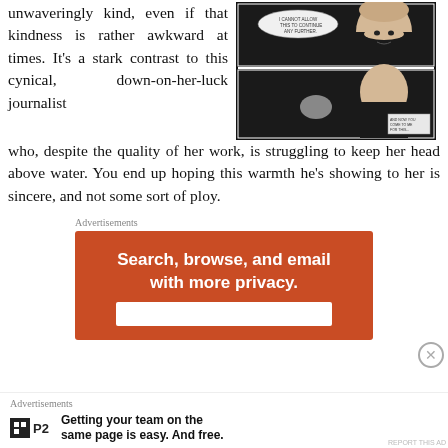unwaveringly kind, even if that kindness is rather awkward at times. It's a stark contrast to this cynical, down-on-her-luck journalist who, despite the quality of her work, is struggling to keep her head above water. You end up hoping this warmth he's showing to her is sincere, and not some sort of ploy.
[Figure (illustration): Comic book panels showing a bald man with speech bubble and a second panel showing the same man facing another person]
Advertisements
[Figure (screenshot): Advertisement banner with orange background reading 'Search, browse, and email with more privacy.' with a button below]
Advertisements
[Figure (logo): P2 logo icon]
Getting your team on the same page is easy. And free.